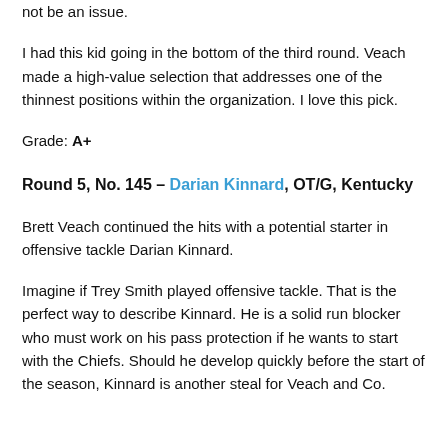not be an issue.
I had this kid going in the bottom of the third round. Veach made a high-value selection that addresses one of the thinnest positions within the organization. I love this pick.
Grade: A+
Round 5, No. 145 – Darian Kinnard, OT/G, Kentucky
Brett Veach continued the hits with a potential starter in offensive tackle Darian Kinnard.
Imagine if Trey Smith played offensive tackle. That is the perfect way to describe Kinnard. He is a solid run blocker who must work on his pass protection if he wants to start with the Chiefs. Should he develop quickly before the start of the season, Kinnard is another steal for Veach and Co.